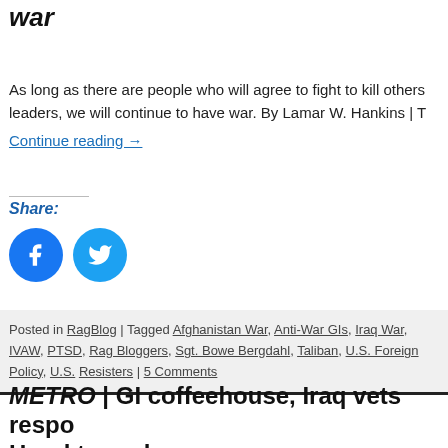war
As long as there are people who will agree to fight to kill others leaders, we will continue to have war. By Lamar W. Hankins | T
Continue reading →
Share:
[Figure (illustration): Facebook and Twitter social share icon circles (blue circles with white icons)]
Posted in RagBlog | Tagged Afghanistan War, Anti-War GIs, Iraq War, IVAW, PTSD, Rag Bloggers, Sgt. Bowe Bergdahl, Taliban, U.S. Foreign Policy, U.S. Resisters | 5 Comments
METRO | GI coffeehouse, Iraq vets respo Hood tragedy
By Alice Embree | The Rag Blog | April 7, 2014 KILLEEN